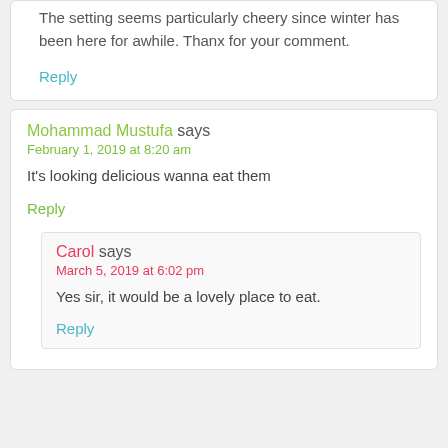The setting seems particularly cheery since winter has been here for awhile. Thanx for your comment.
Reply
Mohammad Mustufa says
February 1, 2019 at 8:20 am
It's looking delicious wanna eat them
Reply
Carol says
March 5, 2019 at 6:02 pm
Yes sir, it would be a lovely place to eat.
Reply